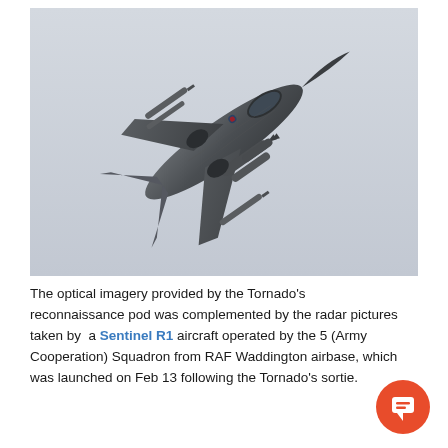[Figure (photo): A Panavia Tornado jet aircraft photographed from below against a pale grey sky, loaded with missiles and weapons, banking in flight.]
The optical imagery provided by the Tornado's reconnaissance pod was complemented by the radar pictures taken by a Sentinel R1 aircraft operated by the 5 (Army Cooperation) Squadron from RAF Waddington airbase, which was launched on Feb 13 following the Tornado's sortie.